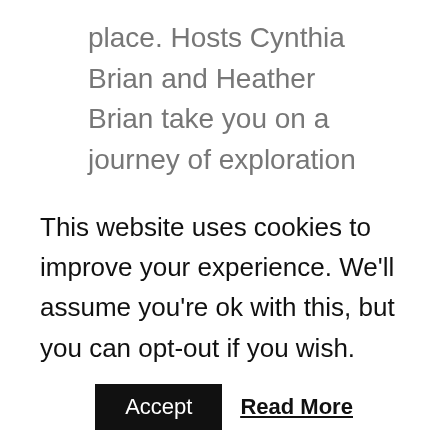place. Hosts Cynthia Brian and Heather Brian take you on a journey of exploration that will encourage, inspire, and motivate you to make positive changes that offer life enhancing results. Itâs party time on StarStyleÃÂ®-Be the Star You Are!ÃÂ®. And YOU are invited! Join us LIVE 4-5pm Pt on Wednesdays or tune in to the archives at your leisure. Come play in StarStyle Country.
What are your plans to bring in the New Year? Cynthia Brian and Heather Brittany celebrate the
This website uses cookies to improve your experience. We'll assume you're ok with this, but you can opt-out if you wish.
Accept
Read More